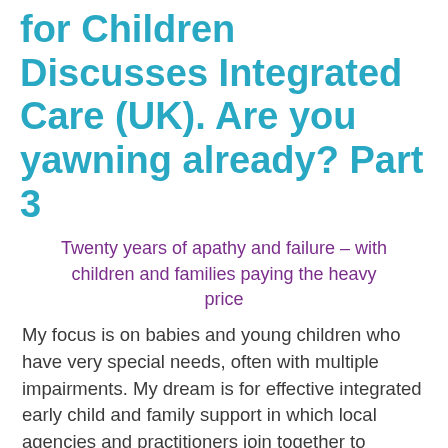for Children Discusses Integrated Care (UK). Are you yawning already? Part 3
Twenty years of apathy and failure – with children and families paying the heavy price
My focus is on babies and young children who have very special needs, often with multiple impairments. My dream is for effective integrated early child and family support in which local agencies and practitioners join together to produce a seamless service to support the child's learning and development and to help the